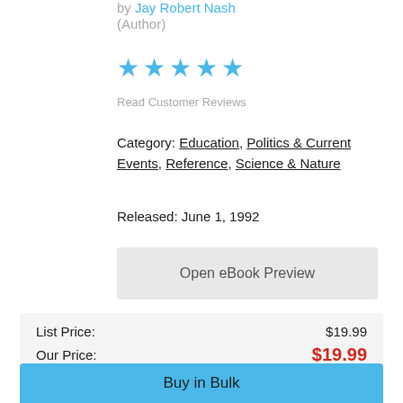by Jay Robert Nash (Author)
[Figure (other): Five cyan/blue star rating icons]
Read Customer Reviews
Category: Education, Politics & Current Events, Reference, Science & Nature
Released: June 1, 1992
Open eBook Preview
| List Price: | $19.99 |
| Our Price: | $19.99 |
Buy in Bulk